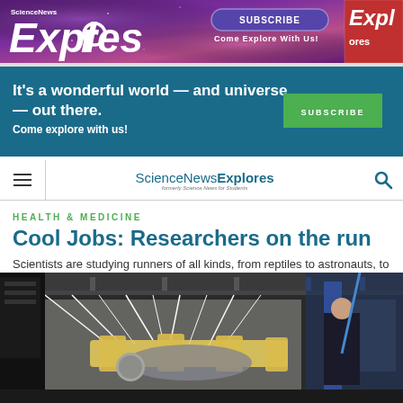[Figure (screenshot): Science News Explores banner advertisement with purple/pink galaxy background, large 'Explores' logo in white italic, Subscribe button, 'Come Explore With Us!' text, and magazine cover on right]
[Figure (screenshot): Teal subscription banner: 'It's a wonderful world — and universe — out there. Come explore with us!' with green SUBSCRIBE button]
ScienceNewsExplores (formerly Science News for Students)
HEALTH & MEDICINE
Cool Jobs: Researchers on the run
Scientists are studying runners of all kinds, from reptiles to astronauts, to help everyone exercise better
[Figure (photo): Laboratory photo showing a person in a harness suspended by straps and ropes from overhead equipment, with yellow harness supports and blue equipment visible; another person stands to the right]